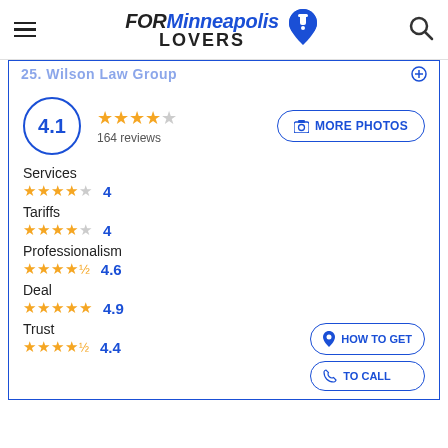FOR Minneapolis LOVERS
25. Wilson Law Group
4.1 — 164 reviews
Services ★★★★☆ 4
Tariffs ★★★★☆ 4
Professionalism ★★★★½ 4.6
Deal ★★★★★ 4.9
Trust ★★★★½ 4.4